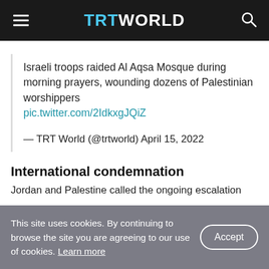TRT WORLD
Israeli troops raided Al Aqsa Mosque during morning prayers, wounding dozens of Palestinian worshippers pic.twitter.com/2IdkxgJQiZ
— TRT World (@trtworld) April 15, 2022
International condemnation
Jordan and Palestine called the ongoing escalation
This site uses cookies. By continuing to browse the site you are agreeing to our use of cookies. Learn more